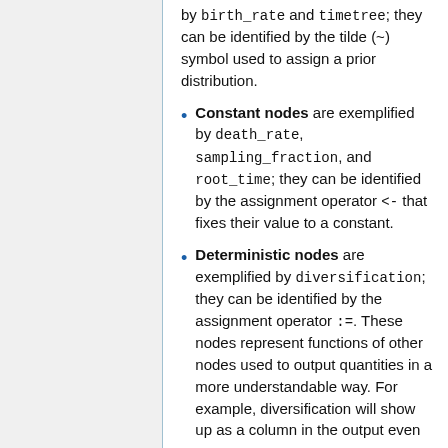by birth_rate and timetree; they can be identified by the tilde (~) symbol used to assign a prior distribution.
Constant nodes are exemplified by death_rate, sampling_fraction, and root_time; they can be identified by the assignment operator <- that fixes their value to a constant.
Deterministic nodes are exemplified by diversification; they can be identified by the assignment operator :=. These nodes represent functions of other nodes used to output quantities in a more understandable way. For example, diversification will show up as a column in the output even